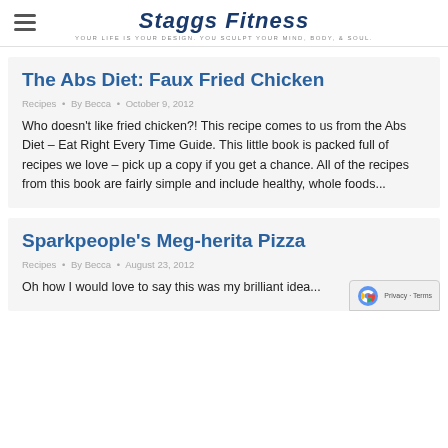Staggs Fitness — Your life is your design. You sculpt your mind, body, & soul.
The Abs Diet: Faux Fried Chicken
Recipes • By Becca • October 9, 2012
Who doesn't like fried chicken?! This recipe comes to us from the Abs Diet – Eat Right Every Time Guide. This little book is packed full of recipes we love – pick up a copy if you get a chance. All of the recipes from this book are fairly simple and include healthy, whole foods...
Sparkpeople's Meg-herita Pizza
Recipes • By Becca • August 23, 2012
Oh how I would love to say this was my brilliant idea...